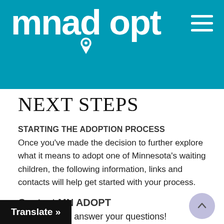mnadopt
NEXT STEPS
STARTING THE ADOPTION PROCESS
Once you've made the decision to further explore what it means to adopt one of Minnesota's waiting children, the following information, links and contacts will help get started with your process.
Contact MN ADOPT
We're here to answer your questions! While our goal is to provide comprehensive information on our website, we adoption and foster care can be a